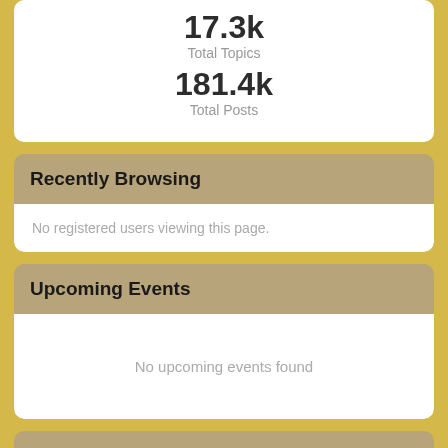17.3k
Total Topics
181.4k
Total Posts
Recently Browsing
No registered users viewing this page.
Upcoming Events
No upcoming events found
Recent Event Reviews